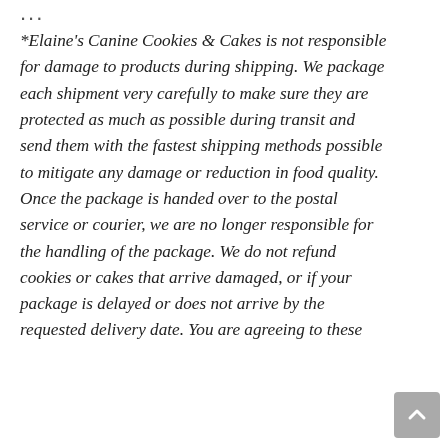...
*Elaine's Canine Cookies & Cakes is not responsible for damage to products during shipping. We package each shipment very carefully to make sure they are protected as much as possible during transit and send them with the fastest shipping methods possible to mitigate any damage or reduction in food quality.  Once the package is handed over to the postal service or courier, we are no longer responsible for the handling of the package. We do not refund cookies or cakes that arrive damaged, or if your package is delayed or does not arrive by the requested delivery date. You are agreeing to these